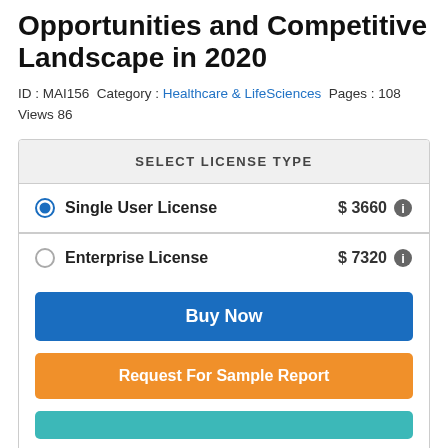Opportunities and Competitive Landscape in 2020
ID : MAI156 Category : Healthcare & LifeSciences Pages : 108 Views 86
| SELECT LICENSE TYPE |
| --- |
| Single User License | $ 3660 |
| Enterprise License | $ 7320 |
Buy Now
Request For Sample Report